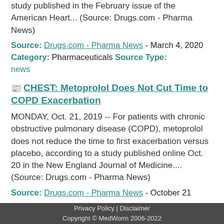study published in the February issue of the American Heart... (Source: Drugs.com - Pharma News)
Source: Drugs.com - Pharma News - March 4, 2020 Category: Pharmaceuticals Source Type: news
CHEST: Metoprolol Does Not Cut Time to COPD Exacerbation
MONDAY, Oct. 21, 2019 -- For patients with chronic obstructive pulmonary disease (COPD), metoprolol does not reduce the time to first exacerbation versus placebo, according to a study published online Oct. 20 in the New England Journal of Medicine.... (Source: Drugs.com - Pharma News)
Source: Drugs.com - Pharma News - October 21
Privacy Policy | Disclaimer
Copyright © MedWorm 2006-2022